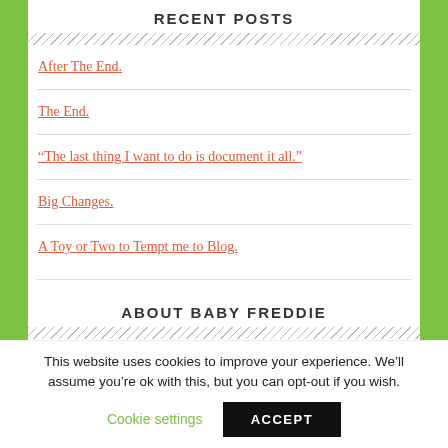RECENT POSTS
After The End.
The End.
“The last thing I want to do is document it all.”
Big Changes.
A Toy or Two to Tempt me to Blog.
ABOUT BABY FREDDIE
This website uses cookies to improve your experience. We’ll assume you’re ok with this, but you can opt-out if you wish.
Cookie settings  ACCEPT